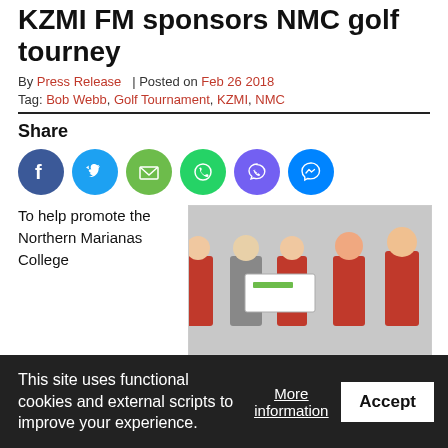KZMI FM sponsors NMC golf tourney
By Press Release | Posted on Feb 26 2018
Tag: Bob Webb, Golf Tournament, KZMI, NMC
Share
[Figure (infographic): Row of social media share icon buttons: Facebook (blue), Twitter (light blue), Email (green), WhatsApp (bright green), Viber (purple), Messenger (blue)]
To help promote the Northern Marianas College
[Figure (photo): Five people posing for a photo, some in red shirts, one holding a large check from KZMI FM]
KZMI FM recently donated $3,000 in radio advertisements to
This site uses functional cookies and external scripts to improve your experience.
More information
Accept